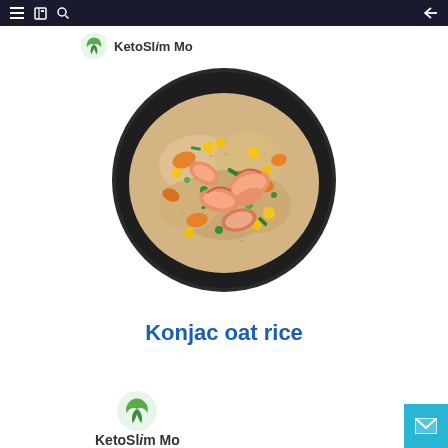Navigation bar with menu, bookmark, search, and back icons
[Figure (logo): KetoSlim Mo logo - green circular leaf/swirl icon with text KetoSlim Mo]
[Figure (photo): A dark round plate/bowl containing shrimp fried rice with vegetables including carrots, corn, green peas, and prawns/shrimp]
Konjac oat rice
[Figure (logo): KetoSlim Mo logo - green circular leaf/swirl icon with text KetoSlim Mo (bottom)]